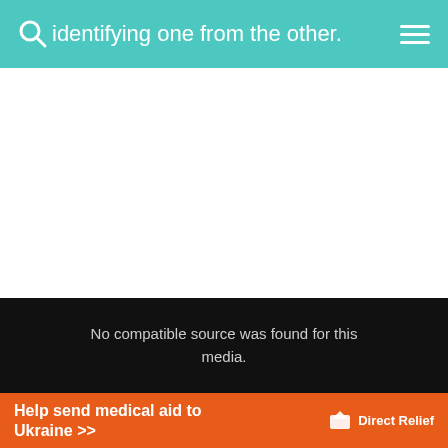identifying one from the other.
[Figure (screenshot): White content area — main article body, content not visible in this cropped view]
[Figure (screenshot): Video player showing 'No compatible source was found for this media.' error message with gray background and black overlay bar]
[Figure (screenshot): Orange advertisement banner: 'Help send medical aid to Ukraine >>' with Direct Relief logo]